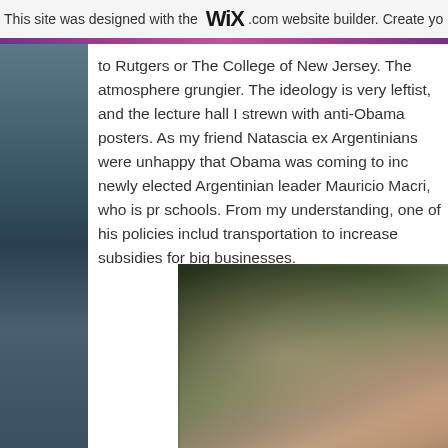This site was designed with the WiX.com website builder. Create yo
to Rutgers or The College of New Jersey. The atmosphere grungier. The ideology is very leftist, and the lecture hall I strewn with anti-Obama posters. As my friend Natascia ex Argentinians were unhappy that Obama was coming to inc newly elected Argentinian leader Mauricio Macri, who is pr schools. From my understanding, one of his policies includ transportation to increase subsidies for big businesses.
[Figure (photo): Blurred photograph, partially visible, showing outdoor scene with dark green and warm brown/peach tones, likely a landscape or event photo.]